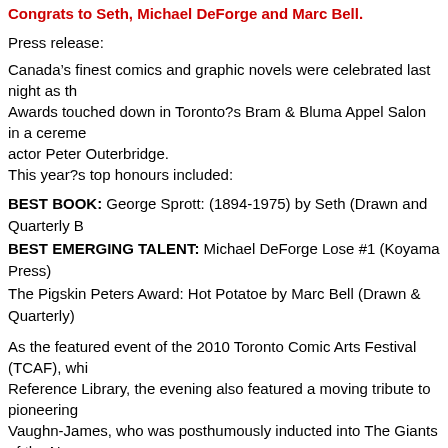Congrats to Seth, Michael DeForge and Marc Bell.
Press release:
Canada’s finest comics and graphic novels were celebrated last night as the Awards touched down in Toronto?s Bram & Bluma Appel Salon in a ceremony hosted by actor Peter Outerbridge. This year?s top honours included:
BEST BOOK: George Sprott: (1894-1975) by Seth (Drawn and Quarterly B
BEST EMERGING TALENT: Michael DeForge Lose #1 (Koyama Press)
The Pigskin Peters Award: Hot Potatoe by Marc Bell (Drawn & Quarterly)
As the featured event of the 2010 Toronto Comic Arts Festival (TCAF), which Reference Library, the evening also featured a moving tribute to pioneering Vaughn-James, who was posthumously inducted into The Giants of the No Hall of Fame, in a talk delivered by cartoonist Kate Beaton.
The winners were decided by a jury comprised of Matt Forsythe (editor of D Pigskin Peters Award for Ojingogo), Geoff Pevere (Toronto Star book critic; Fiona Smyth (artist; cartoonist) and Carl Wilson (editor/writer Globe and Ma Love: A Journey to the End of Taste).
Speaking on behalf of the jury, Pevere praised the Best Book winner Georg character, of a country?a country that is no longer with us,” adding that:
“It is a work about memory, a work about culture, a work about the past and
Speaking for Wright Awards nominating committee, which chooses the ann Matt Forsythe described Hot Potatoe as “a collection of seven years of wor